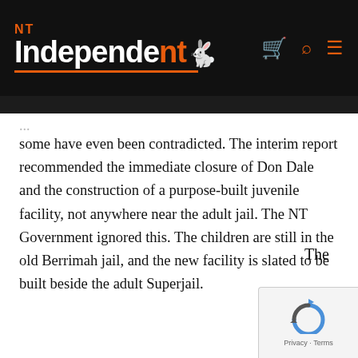NT Independent
some have even been contradicted. The interim report recommended the immediate closure of Don Dale and the construction of a purpose-built juvenile facility, not anywhere near the adult jail. The NT Government ignored this. The children are still in the old Berrimah jail, and the new facility is slated to be built beside the adult Superjail.
The
[Figure (logo): reCAPTCHA widget with circular arrow icon and Privacy · Terms text]